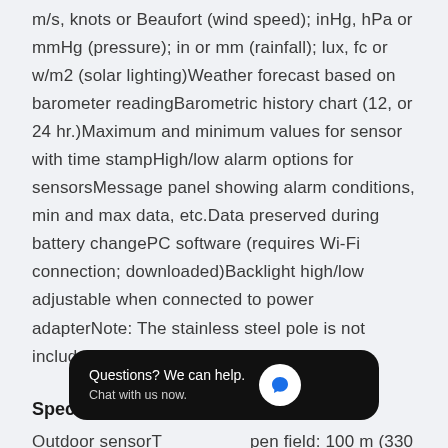m/s, knots or Beaufort (wind speed); inHg, hPa or mmHg (pressure); in or mm (rainfall); lux, fc or w/m2 (solar lighting)Weather forecast based on barometer readingBarometric history chart (12, or 24 hr.)Maximum and minimum values for sensor with time stampHigh/low alarm options for sensorsMessage panel showing alarm conditions, min and max data, etc.Data preserved during battery changePC software (requires Wi-Fi connection; downloaded)Backlight high/low adjustable when connected to power adapterNote: The stainless steel pole is not included in the package
Specifications:
Outdoor sensorT... open field: 100 m (330 ft.)
[Figure (other): Chat widget overlay: dark rounded rectangle with text 'Questions? We can help. Chat with us now.' and a blue chat icon button on the right.]